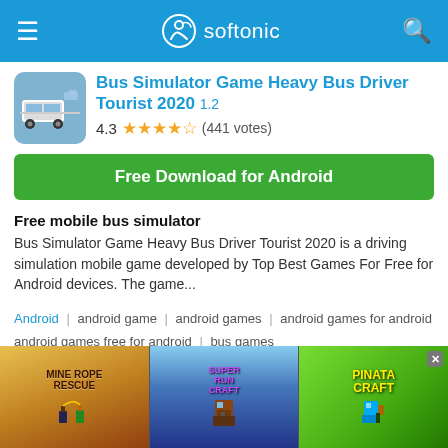softonic
Bus Simulator Game Heavy Bus Driver Tourist 2020 1.2
4.3 ★★★★½ (441 votes)
Free Download for Android
Free mobile bus simulator
Bus Simulator Game Heavy Bus Driver Tourist 2020 is a driving simulation mobile game developed by Top Best Games For Free for Android devices. The game...
Android | android game | android games | android games for android android games free for android | bus games
[Figure (screenshot): Advertisement banner showing three mobile games: Mine Rope Rescue, Super Run Craft, and Pinata Craft]